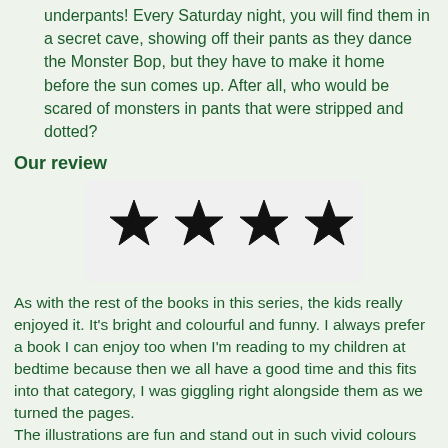underpants! Every Saturday night, you will find them in a secret cave, showing off their pants as they dance the Monster Bop, but they have to make it home before the sun comes up. After all, who would be scared of monsters in pants that were stripped and dotted?
Our review
[Figure (illustration): Four black hand-drawn stars in a light grey rounded rectangle box representing a 4-star rating]
As with the rest of the books in this series, the kids really enjoyed it. It's bright and colourful and funny. I always prefer a book I can enjoy too when I'm reading to my children at bedtime because then we all have a good time and this fits into that category, I was giggling right alongside them as we turned the pages.
The illustrations are fun and stand out in such vivid colours that there's plenty to look at for all ages.
If you haven't guessed or aren't familiar with this series, then the book is about the love monsters have for underpants and when they like to wear them but that its a secret as they